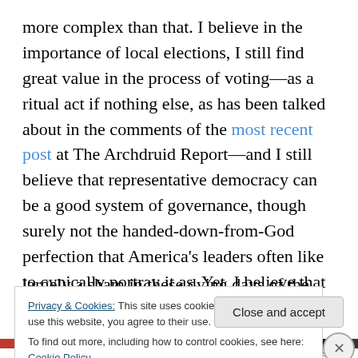more complex than that. I believe in the importance of local elections, I still find great value in the process of voting—as a ritual act if nothing else, as has been talked about in the comments of the most recent post at The Archdruid Report—and I still believe that representative democracy can be a good system of governance, though surely not the handed-down-from-God perfection that America's leaders often like to cynically portray it as. Yet, I believe that our system—on the federal level, at least—has become hopelessly corrupted, utterly ineffective, and largely a sham in these dying days of the American
Privacy & Cookies: This site uses cookies. By continuing to use this website, you agree to their use.
To find out more, including how to control cookies, see here: Cookie Policy
Close and accept